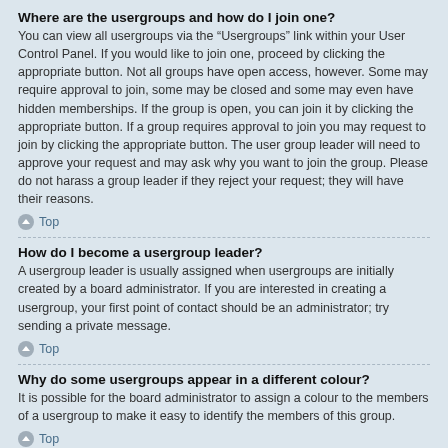Where are the usergroups and how do I join one?
You can view all usergroups via the “Usergroups” link within your User Control Panel. If you would like to join one, proceed by clicking the appropriate button. Not all groups have open access, however. Some may require approval to join, some may be closed and some may even have hidden memberships. If the group is open, you can join it by clicking the appropriate button. If a group requires approval to join you may request to join by clicking the appropriate button. The user group leader will need to approve your request and may ask why you want to join the group. Please do not harass a group leader if they reject your request; they will have their reasons.
Top
How do I become a usergroup leader?
A usergroup leader is usually assigned when usergroups are initially created by a board administrator. If you are interested in creating a usergroup, your first point of contact should be an administrator; try sending a private message.
Top
Why do some usergroups appear in a different colour?
It is possible for the board administrator to assign a colour to the members of a usergroup to make it easy to identify the members of this group.
Top